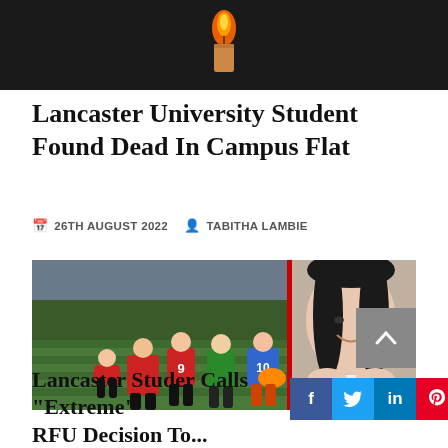[Figure (photo): Dark background image showing a candle flame, orange glow against black background]
Lancaster University Student Found Dead In Campus Flat
26TH AUGUST 2022   TABITHA LAMBIE
[Figure (photo): Women's rugby match scene overlaid with a portrait photo of a young woman with dark hair smiling, wearing white]
Lancaster Student Calls Decision "Extreme" RFU Decision To...